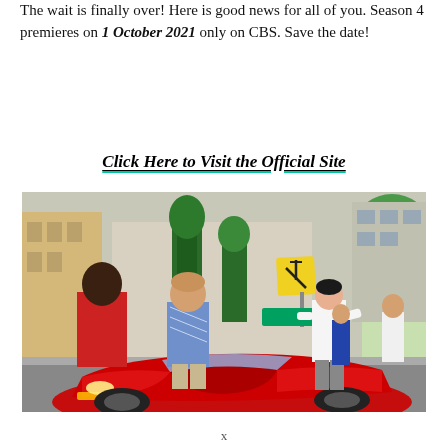The wait is finally over! Here is good news for all of you. Season 4 premieres on 1 October 2021 only on CBS. Save the date!
Click Here to Visit the Official Site
[Figure (photo): A street scene with several people standing around a red sports car (Ferrari). A man in a white shirt faces toward the camera, a man in a red shirt and a man in a blue patterned shirt stand nearby. Background shows buildings, trees, and a yellow road sign.]
x